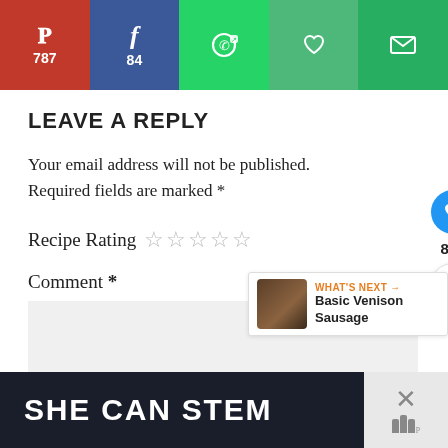[Figure (infographic): Social sharing bar with Pinterest (787), Facebook (84), WhatsApp, heart/save, and email buttons in red, blue, green, teal, and dark green colors.]
LEAVE A REPLY
Your email address will not be published. Required fields are marked *
Recipe Rating ☆☆☆☆☆
Comment *
[Figure (infographic): Floating sidebar with blue heart/like button showing 890 count and share button]
[Figure (infographic): What's Next panel showing Basic Venison Sausage with thumbnail image]
[Figure (infographic): Bottom advertisement banner with dark background reading SHE CAN STEM, with close button]